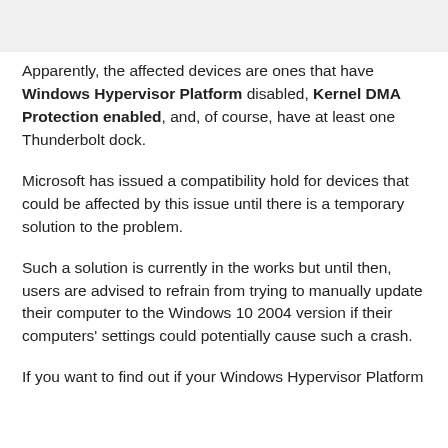[Figure (other): Top portion of an image, partially visible at the top of the page]
Apparently, the affected devices are ones that have Windows Hypervisor Platform disabled, Kernel DMA Protection enabled, and, of course, have at least one Thunderbolt dock.
Microsoft has issued a compatibility hold for devices that could be affected by this issue until there is a temporary solution to the problem.
Such a solution is currently in the works but until then, users are advised to refrain from trying to manually update their computer to the Windows 10 2004 version if their computers' settings could potentially cause such a crash.
If you want to find out if your Windows Hypervisor Platform